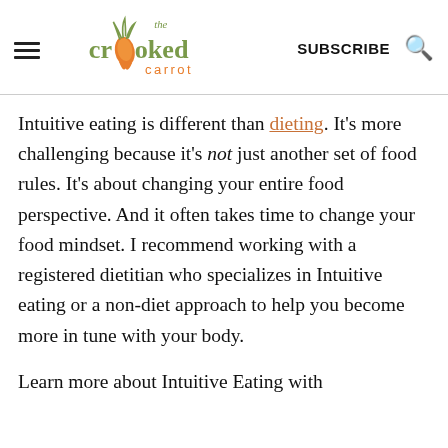the crooked carrot | SUBSCRIBE
Intuitive eating is different than dieting. It's more challenging because it's not just another set of food rules. It's about changing your entire food perspective. And it often takes time to change your food mindset. I recommend working with a registered dietitian who specializes in Intuitive eating or a non-diet approach to help you become more in tune with your body.
Learn more about Intuitive Eating with